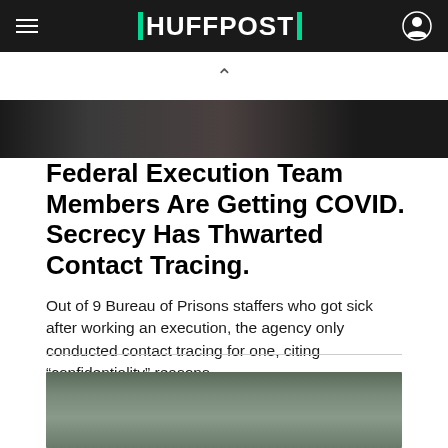HUFFPOST
[Figure (photo): Top portion of a building exterior photo, cropped at top of page]
Federal Execution Team Members Are Getting COVID. Secrecy Has Thwarted Contact Tracing.
Out of 9 Bureau of Prisons staffers who got sick after working an execution, the agency only conducted contact tracing for one, citing “confidentiality” reasons.
By JESSICA SCHULBERG
[Figure (photo): Partial photo of a person, cropped at bottom of page]